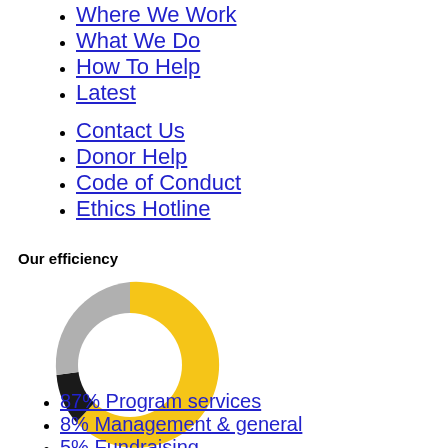Where We Work
What We Do
How To Help
Latest
Contact Us
Donor Help
Code of Conduct
Ethics Hotline
Our efficiency
[Figure (donut-chart): Our efficiency]
87% Program services
8% Management & general
5% Fundraising